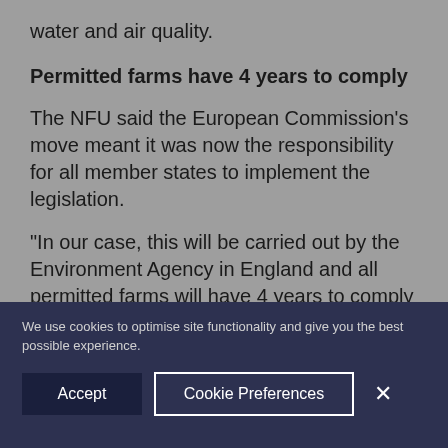water and air quality.
Permitted farms have 4 years to comply
The NFU said the European Commission’s move meant it was now the responsibility for all member states to implement the legislation.
“In our case, this will be carried out by the Environment Agency in England and all permitted farms will have 4 years to comply with the changes.
We use cookies to optimise site functionality and give you the best possible experience.